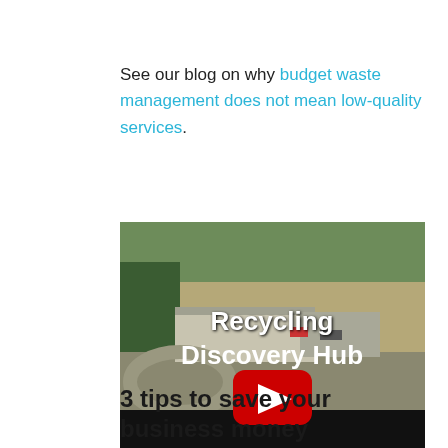See our blog on why budget waste management does not mean low-quality services.
[Figure (screenshot): YouTube video thumbnail showing aerial view of a recycling facility with the title 'Recycling Discovery Hub' overlaid, and a YouTube play button in the center.]
3 tips to save your business money